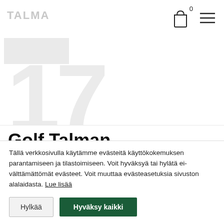TALMA
[Figure (illustration): Shopping bag icon with cart badge showing 0, and hamburger menu icon in top right header area]
Golf Talman senioreiden pelimatka
Tällä verkkosivulla käytämme evästeitä käyttökokemuksen parantamiseen ja tilastoimiseen. Voit hyväksyä tai hylätä ei-välttämättömät evästeet. Voit muuttaa evästeasetuksia sivuston alalaidasta. Lue lisää
Hylkää
Hyväksy kaikki